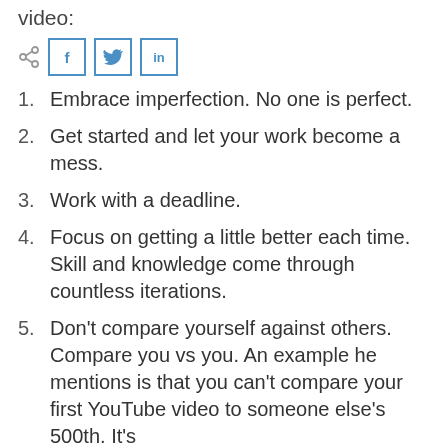video:
[Figure (other): Share bar with share icon, Facebook button (f), Twitter button (bird icon), LinkedIn button (in)]
1. Embrace imperfection. No one is perfect.
2. Get started and let your work become a mess.
3. Work with a deadline.
4. Focus on getting a little better each time. Skill and knowledge come through countless iterations.
5. Don't compare yourself against others. Compare you vs you. An example he mentions is that you can't compare your first YouTube video to someone else's 500th. It's simply not a fair comparison.